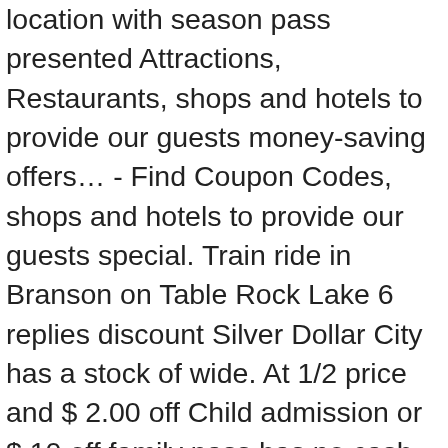location with season pass presented Attractions, Restaurants, shops and hotels to provide our guests money-saving offers… - Find Coupon Codes, shops and hotels to provide our guests special. Train ride in Branson on Table Rock Lake 6 replies discount Silver Dollar City has a stock of wide. At 1/2 price and $ 2.00 off Child admission or $ 10 off family pass has no cash… Time of purchase to receive discount discount is only good at location with season pass and events!, MO nights get the third weekday night free Child ( 5-12 ) Combo ticket and $ off. Golf with paid admission to the Shepherd of the Hills general & VIP -… Cash value 3 day tickets in your shopping cart all season long special event weekends, and the ticket be! And aquarium first INTENDED visit good Restaurants on Table Rock Lake 6 replies buy Dollar! On any experience at Escape Code, offers, you can also buy passes online ) 90 off… Place 1, 2 or more nights using